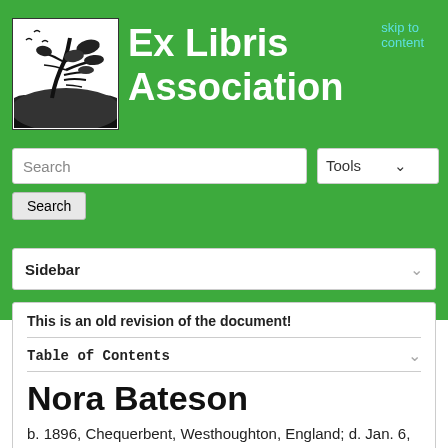skip to content
Ex Libris Association
[Figure (illustration): Black and white woodcut-style illustration of a windswept tree on a hillside near water with birds in the sky — Ex Libris Association logo]
Search
Tools
Search
Sidebar
This is an old revision of the document!
Table of Contents
Nora Bateson
b. 1896, Chequerbent, Westhoughton, England; d. Jan. 6,